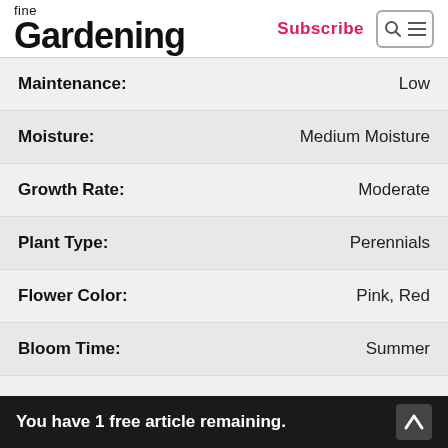fine Gardening — Subscribe
| Property | Value |
| --- | --- |
| Maintenance: | Low |
| Moisture: | Medium Moisture |
| Growth Rate: | Moderate |
| Plant Type: | Perennials |
| Flower Color: | Pink, Red |
| Bloom Time: | Summer |
| Plant Seasonal Interest: | Summer Interest |
You have 1 free article remaining.